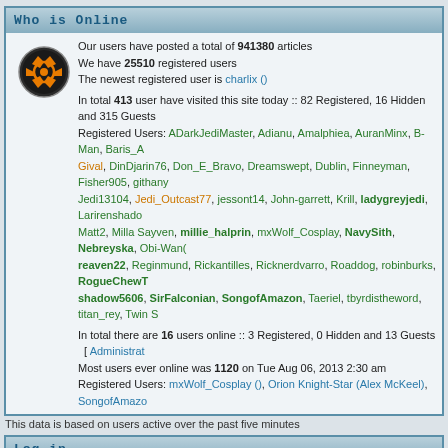Who is Online
Our users have posted a total of 941380 articles
We have 25510 registered users
The newest registered user is charlix ()
In total 413 user have visited this site today :: 82 Registered, 16 Hidden and 315 Guests
Registered Users: ADarkJediMaster, Adianu, Amalphiea, AuranMinx, B-Man, Baris_A, Gival, DinDjarin76, Don_E_Bravo, Dreamswept, Dublin, Finneyman, Fisher905, githany, Jedi13104, Jedi_Outcast77, jessont14, John-garrett, Krill, ladygreyjedi, Larirenshado, Matt2, Milla Sayven, millie_halprin, mxWolf_Cosplay, NavySith, Nebreyska, Obi-Wan, reaven22, Reginmund, Rickantilles, Ricknerdvarro, Roaddog, robinburks, RogueChewT, shadow5606, SirFalconian, SongofAmazon, Taeriel, tbyrdistheword, titan_rey, Twin S
In total there are 16 users online :: 3 Registered, 0 Hidden and 13 Guests  [ Administrat
Most users ever online was 1120 on Tue Aug 06, 2013 2:30 am
Registered Users: mxWolf_Cosplay (), Orion Knight-Star (Alex McKeel), SongofAmazo
This data is based on users active over the past five minutes
Log in
Username: [input] Password: [input]
New posts  No ne
The Rebel Legion is a worldwide Star Wars costuming organization comprised of an preferred volunteer Rebel costuming group. Star Wars, its characters, costumes, an & ™ All rights reserved. - Privac
Powered by phpBB © 2